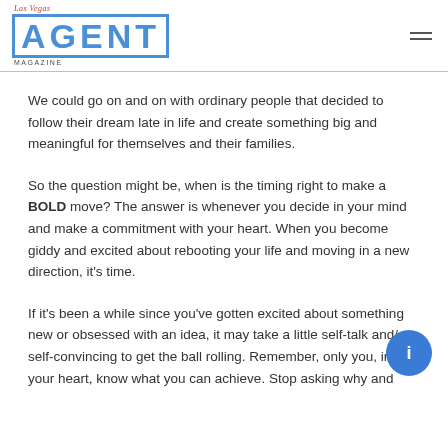Las Vegas AGENT Magazine
We could go on and on with ordinary people that decided to follow their dream late in life and create something big and meaningful for themselves and their families.
So the question might be, when is the timing right to make a BOLD move? The answer is whenever you decide in your mind and make a commitment with your heart. When you become giddy and excited about rebooting your life and moving in a new direction, it’s time.
If it’s been a while since you’ve gotten excited about something new or obsessed with an idea, it may take a little self-talk and/or self-convincing to get the ball rolling. Remember, only you, in your heart, know what you can achieve. Stop asking why and